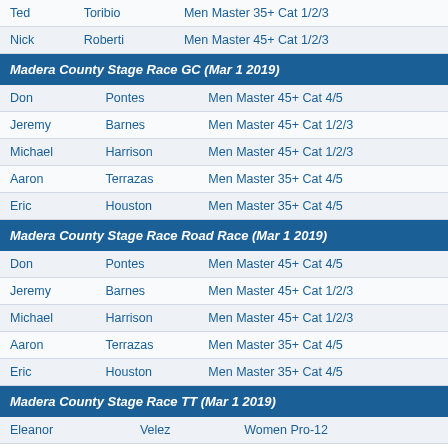| Ted | Toribio | Men Master 35+ Cat 1/2/3 |
| Nick | Roberti | Men Master 45+ Cat 1/2/3 |
Madera County Stage Race GC (Mar 1 2019)
| Don | Pontes | Men Master 45+ Cat 4/5 |
| Jeremy | Barnes | Men Master 45+ Cat 1/2/3 |
| Michael | Harrison | Men Master 45+ Cat 1/2/3 |
| Aaron | Terrazas | Men Master 35+ Cat 4/5 |
| Eric | Houston | Men Master 35+ Cat 4/5 |
Madera County Stage Race Road Race (Mar 1 2019)
| Don | Pontes | Men Master 45+ Cat 4/5 |
| Jeremy | Barnes | Men Master 45+ Cat 1/2/3 |
| Michael | Harrison | Men Master 45+ Cat 1/2/3 |
| Aaron | Terrazas | Men Master 35+ Cat 4/5 |
| Eric | Houston | Men Master 35+ Cat 4/5 |
Madera County Stage Race TT (Mar 1 2019)
| Eleanor | Velez | Women Pro-12 |